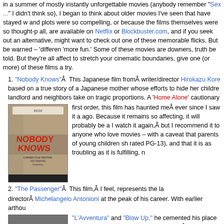in a summer of mostly instantly unforgettable movies (anybody remember "Sex ..." I didn't think so), I began to think about older movies I've seen that have stayed with me, and plots were so compelling, or because the films themselves were so thought-provoking. They all, are available on Netflix or Blockbuster.com, and if you seek out an alternative, you might want to check out one of these memorable flicks. But be warned – 'different' doesn't mean 'more fun.' Some of these movies are downers, truth be told. But they're all affecting. If you want to stretch your cinematic boundaries, give one (or more) of these films a try.
1. "Nobody Knows" This Japanese film from writer/director Hirokazu Kore-eda is based on a true story of a Japanese mother whose efforts to hide her children from her landlord and neighbors take on tragic proportions. A 'Home Alone' cautionary tale of the first order, this film has haunted me ever since I saw it a couple of years ago. Because it remains so affecting, it will probably be a while before I watch it again, but I recommend it to anyone who loves great movies – with a caveat that parents of young children should not (it's rated PG-13), and that it is as troubling as it is fulfilling, not more.
[Figure (photo): Movie poster for 'Nobody Knows' showing the film title in large red letters against a dramatic background]
2. "The Passenger" This film, I feel, represents the last work of director Michelangelo Antonioni at the peak of his career. With earlier arthouses gems like "L'Avventura" and "Blow Up," he cemented his place in world cinema. In "The Passenger," which employs his trademark style of nihilistic plotting, a reporter (played by Jack Nicholson) switches places with a dead arms dealer, with predictably ambiguous results. The film represents a nifty travelogue of sorts, but the movie left me puzzling for a long time.
[Figure (photo): Black and white still from 'The Passenger' showing a shirtless man and a woman]
3. "The 400 Blows" Francois Truffaut's autobiographical tale (the first of his 'Antoine Dionel' features) is a gritty, no-nonsense look at his own wayward youth. As a foot-soldier...